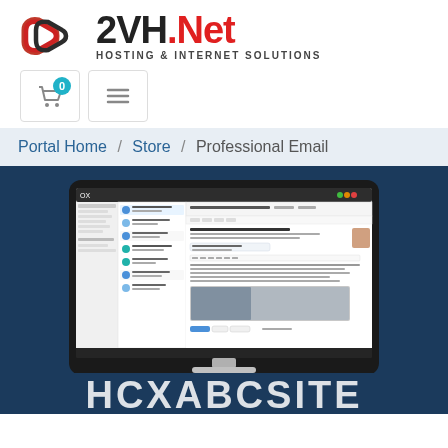[Figure (logo): 2VH.Net logo with red chain-link icon and text '2VH.Net Hosting & Internet Solutions']
[Figure (screenshot): Navigation icon buttons: shopping cart with badge '0' and hamburger menu icon]
Portal Home / Store / Professional Email
[Figure (screenshot): iMac/desktop monitor screenshot showing OX email client interface on dark blue background]
HCXABCSITE